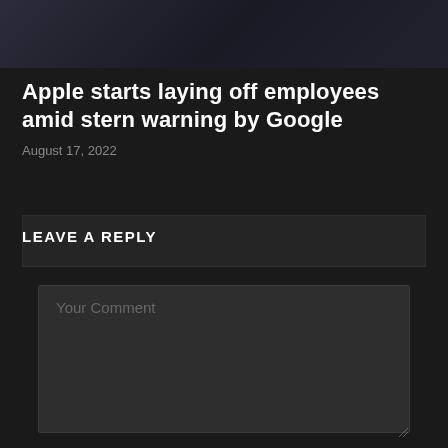[Figure (photo): Partial photo of a person at the top of the page, dark toned image]
Apple starts laying off employees amid stern warning by Google
August 17, 2022
LEAVE A REPLY
Your Comment